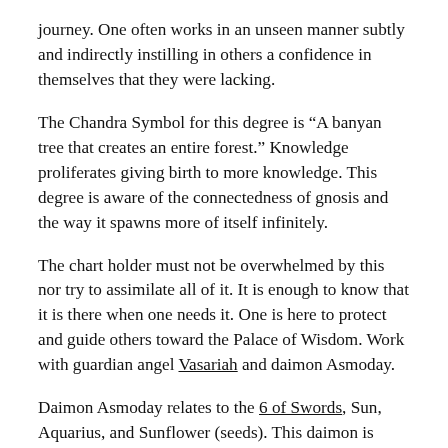journey. One often works in an unseen manner subtly and indirectly instilling in others a confidence in themselves that they were lacking.
The Chandra Symbol for this degree is “A banyan tree that creates an entire forest.” Knowledge proliferates giving birth to more knowledge. This degree is aware of the connectedness of gnosis and the way it spawns more of itself infinitely.
The chart holder must not be overwhelmed by this nor try to assimilate all of it. It is enough to know that it is there when one needs it. One is here to protect and guide others toward the Palace of Wisdom. Work with guardian angel Vasariah and daimon Asmoday.
Daimon Asmoday relates to the 6 of Swords, Sun, Aquarius, and Sunflower (seeds). This daimon is